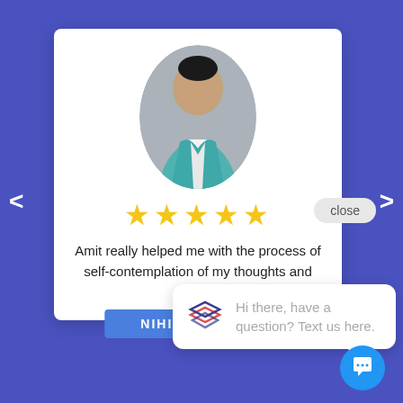[Figure (screenshot): Screenshot of a testimonial/review page with a profile photo of a man in a teal suit, five gold stars, partial review text, and a chat popup saying 'Hi there, have a question? Text us here.' Navigation arrows on left and right. Name bar at bottom reads 'NIHIN SHARMA'.]
Amit really helped me with the process of self-contemplation of my thoughts and inhibit
NIHIN SHARMA
Hi there, have a question? Text us here.
close